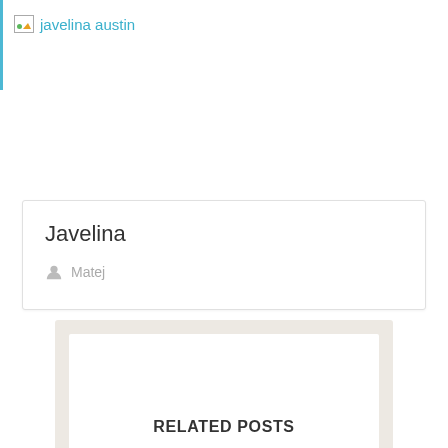javelina austin
Javelina
Matej
RELATED POSTS